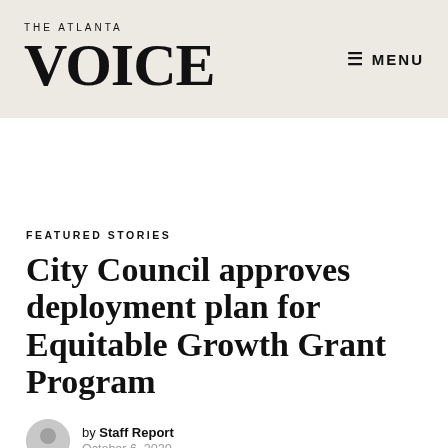THE ATLANTA VOICE | MENU
FEATURED STORIES
City Council approves deployment plan for Equitable Growth Grant Program
by Staff Report
October 6, 2020